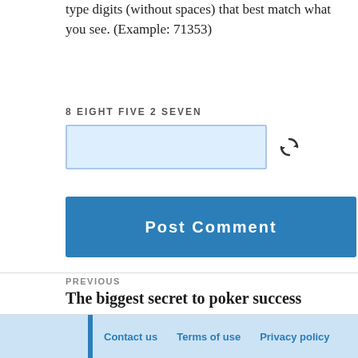type digits (without spaces) that best match what you see. (Example: 71353)
8 EIGHT FIVE 2 SEVEN
Post Comment
PREVIOUS
The biggest secret to poker success
NEXT
Mike Caro poker word is Tipping
Contact us   Terms of use   Privacy policy